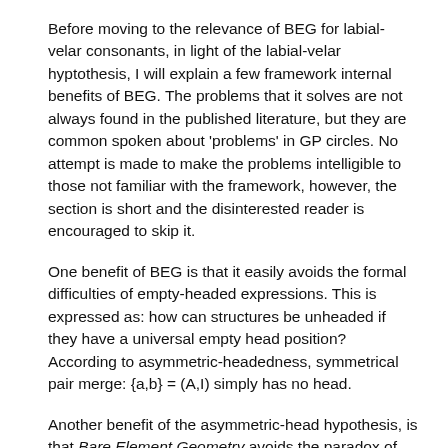Before moving to the relevance of BEG for labial-velar consonants, in light of the labial-velar hyptothesis, I will explain a few framework internal benefits of BEG. The problems that it solves are not always found in the published literature, but they are common spoken about 'problems' in GP circles. No attempt is made to make the problems intelligible to those not familiar with the framework, however, the section is short and the disinterested reader is encouraged to skip it.
One benefit of BEG is that it easily avoids the formal difficulties of empty-headed expressions. This is expressed as: how can structures be unheaded if they have a universal empty head position? According to asymmetric-headedness, symmetrical pair merge: {a,b} = (A,I) simply has no head.
Another benefit of the asymmetric-head hypothesis, is that Bare Element Geometry avoids the paradox of having empty expressions (Ø) in languages that also have the licensing constraint: 'all (phonological)